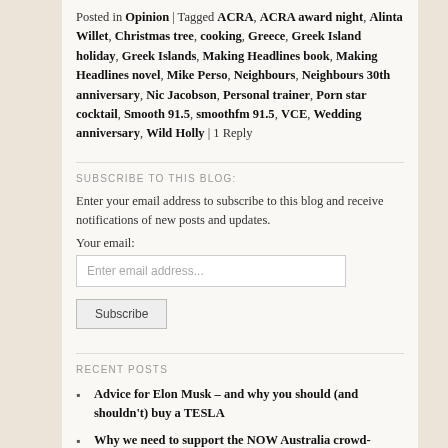Posted in Opinion | Tagged ACRA, ACRA award night, Alinta Willet, Christmas tree, cooking, Greece, Greek Island holiday, Greek Islands, Making Headlines book, Making Headlines novel, Mike Perso, Neighbours, Neighbours 30th anniversary, Nic Jacobson, Personal trainer, Porn star cocktail, Smooth 91.5, smoothfm 91.5, VCE, Wedding anniversary, Wild Holly | 1 Reply
SUBSCRIBE TO THIS BLOG:
Enter your email address to subscribe to this blog and receive notifications of new posts and updates.
Your email:
RECENT POSTS
Advice for Elon Musk – and why you should (and shouldn't) buy a TESLA
Why we need to support the NOW Australia crowd-funding campaign